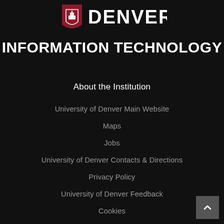[Figure (logo): University of Denver logo with shield icon and DENVER text in white on dark background]
INFORMATION TECHNOLOGY
About the Institution
University of Denver Main Website
Maps
Jobs
University of Denver Contacts & Directions
Privacy Policy
University of Denver Feedback
Cookies